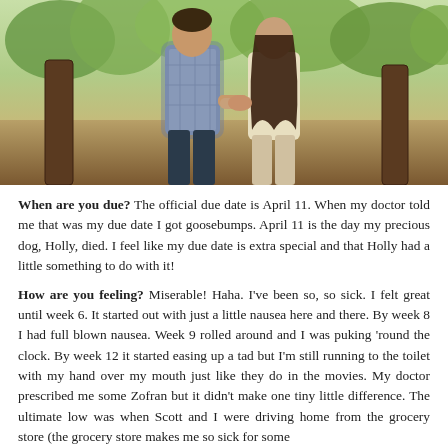[Figure (photo): A couple standing outdoors holding hands in a sunny field/wooded area. The man is on the left wearing a blue plaid shirt, and the woman is on the right wearing a light cream top. There are wooden fence posts visible in the background with green trees.]
When are you due? The official due date is April 11. When my doctor told me that was my due date I got goosebumps. April 11 is the day my precious dog, Holly, died. I feel like my due date is extra special and that Holly had a little something to do with it!
How are you feeling? Miserable! Haha. I've been so, so sick. I felt great until week 6. It started out with just a little nausea here and there. By week 8 I had full blown nausea. Week 9 rolled around and I was puking 'round the clock. By week 12 it started easing up a tad but I'm still running to the toilet with my hand over my mouth just like they do in the movies. My doctor prescribed me some Zofran but it didn't make one tiny little difference. The ultimate low was when Scott and I were driving home from the grocery store (the grocery store makes me so sick for some